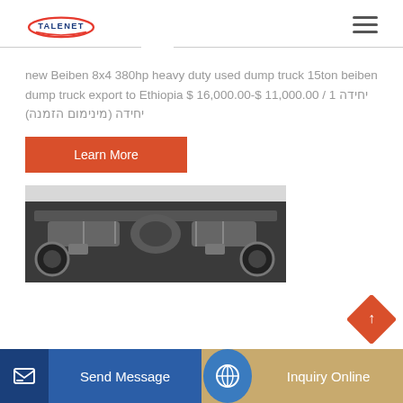TALENET (logo) | Hamburger menu
new Beiben 8x4 380hp heavy duty used dump truck 15ton beiben dump truck export to Ethiopia $ 16,000.00-$ 11,000.00 / יחידה 1 יחידה (מינימום הזמנה)
Learn More
[Figure (photo): Underside/chassis view of a heavy duty dump truck, showing axles and mechanical components, gray background]
Send Message
Inquiry Online